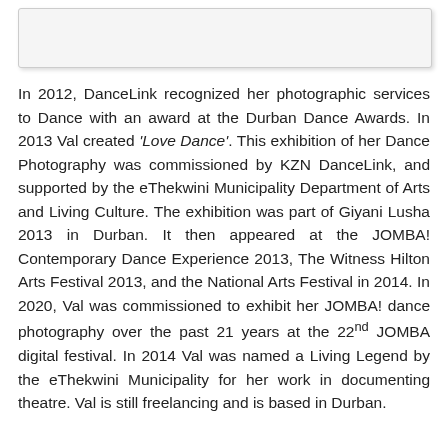[Figure (photo): A light grey rectangular box at the top of the page, representing an image placeholder.]
In 2012, DanceLink recognized her photographic services to Dance with an award at the Durban Dance Awards. In 2013 Val created 'Love Dance'. This exhibition of her Dance Photography was commissioned by KZN DanceLink, and supported by the eThekwini Municipality Department of Arts and Living Culture. The exhibition was part of Giyani Lusha 2013 in Durban. It then appeared at the JOMBA! Contemporary Dance Experience 2013, The Witness Hilton Arts Festival 2013, and the National Arts Festival in 2014. In 2020, Val was commissioned to exhibit her JOMBA! dance photography over the past 21 years at the 22nd JOMBA digital festival. In 2014 Val was named a Living Legend by the eThekwini Municipality for her work in documenting theatre. Val is still freelancing and is based in Durban.